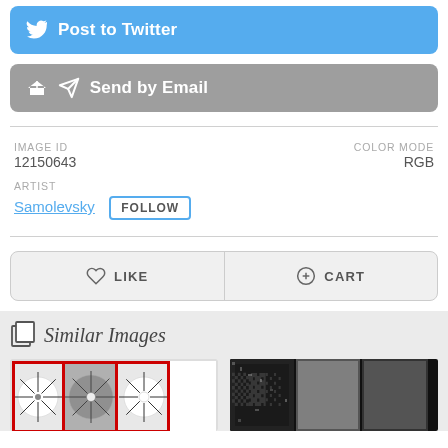[Figure (other): Twitter Post to Twitter button (blue, rounded)]
[Figure (other): Send by Email button (gray, rounded)]
IMAGE ID
12150643
COLOR MODE
RGB
ARTIST
Samolevsky  FOLLOW
[Figure (other): Like and Cart action bar buttons]
Similar Images
[Figure (other): Thumbnail of radial sunburst pattern images with red borders]
[Figure (other): Thumbnail of black and white noise/texture images]